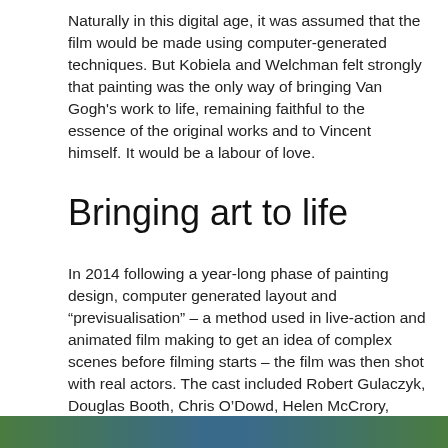Naturally in this digital age, it was assumed that the film would be made using computer-generated techniques. But Kobiela and Welchman felt strongly that painting was the only way of bringing Van Gogh's work to life, remaining faithful to the essence of the original works and to Vincent himself. It would be a labour of love.
Bringing art to life
In 2014 following a year-long phase of painting design, computer generated layout and “previsualisation” – a method used in live-action and animated film making to get an idea of complex scenes before filming starts – the film was then shot with real actors. The cast included Robert Gulaczyk, Douglas Booth, Chris O’Dowd, Helen McCrory, Saoirse Ronan and Aidan Turner performing in a combination of green-screen studio stages and sets built in Van Gogh’s style to replicate elements of the painted scenes.
[Figure (photo): A partial view of a colorful image strip at the bottom of the page, showing what appears to be a film still or painting with green and blue tones.]